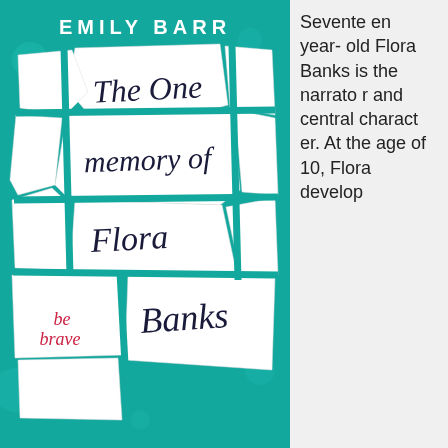[Figure (illustration): Book cover of 'The One Memory of Flora Banks' by Emily Barr. Teal/turquoise background with white torn paper pieces arranged in a cracked pattern, the title written in black handwritten/brush script across the torn papers. 'be brave' written in red lowercase text on a lower paper piece. Author name 'EMILY BARR' in white bold caps at the top.]
Seventeen year-old Flora Banks is the narrator and central character. At the age of 10, Flora develop